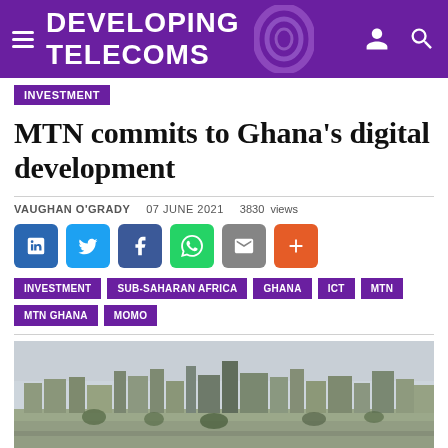DEVELOPING TELECOMS
INVESTMENT
MTN commits to Ghana's digital development
VAUGHAN O'GRADY  07 JUNE 2021  3830 views
[Figure (infographic): Social media share buttons: LinkedIn, Twitter, Facebook, WhatsApp, Email, Plus]
INVESTMENT
SUB-SAHARAN AFRICA
GHANA
ICT
MTN
MTN GHANA
MOMO
[Figure (photo): Aerial cityscape photo of Accra, Ghana, showing urban buildings under a hazy grey sky]